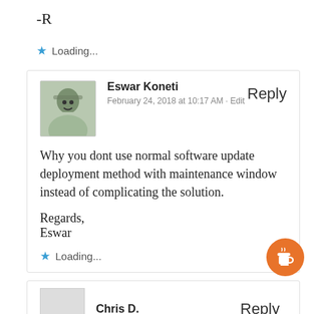-R
Loading...
Eswar Koneti
February 24, 2018 at 10:17 AM · Edit
Why you dont use normal software update deployment method with maintenance window instead of complicating the solution.
Regards,
Eswar
Loading...
Chris D.
Reply